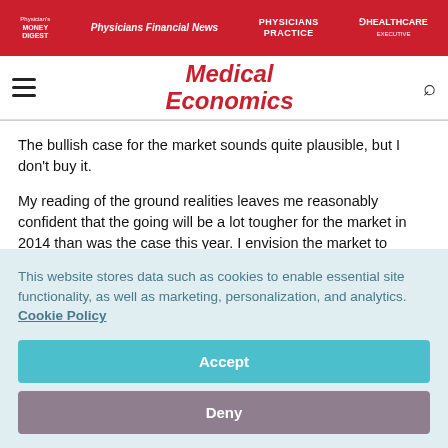Physician's Money Digest | Physicians Financial News | Physicians Practice | HealthCare Executive
Medical Economics
The bullish case for the market sounds quite plausible, but I don't buy it.
My reading of the ground realities leaves me reasonably confident that the going will be a lot tougher for the market in 2014 than was the case this year. I envision the market to
This website stores data such as cookies to enable essential site functionality, as well as marketing, personalization, and analytics. Cookie Policy
Accept
Deny